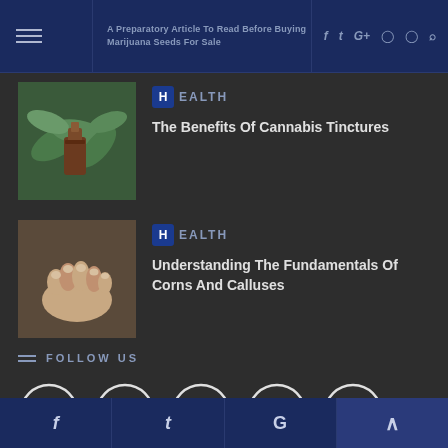A Preparatory Article To Read Before Buying Marijuana Seeds For Sale
[Figure (screenshot): Thumbnail image of cannabis leaves and a brown bottle for the Cannabis Tinctures article]
HEALTH
The Benefits Of Cannabis Tinctures
[Figure (photo): Thumbnail image of a foot/toes for the Corns and Calluses article]
HEALTH
Understanding The Fundamentals Of Corns And Calluses
FOLLOW US
[Figure (infographic): Row of five social media icon circles: Facebook, Twitter, Google+, Pinterest, Instagram]
RANDOM POSTS
f  t  G  ^